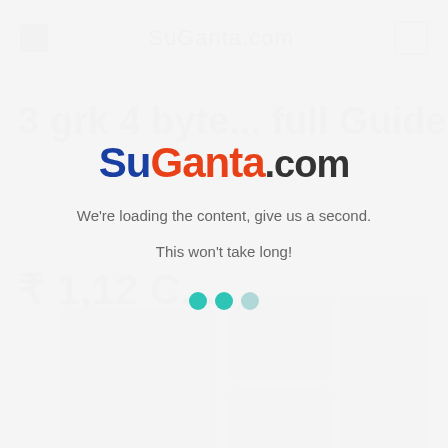[Figure (screenshot): Loading overlay screen for SuGanta.com website. Background shows a blurred/faded webpage with navigation header, large title text, price text, and card elements. In the foreground is a loading modal with the SuGanta.com logo and loading messages.]
SuGanta.com
We're loading the content, give us a second.
This won't take long!